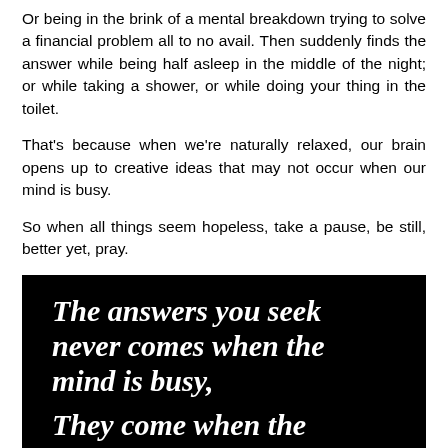Or being in the brink of a mental breakdown trying to solve a financial problem all to no avail. Then suddenly finds the answer while being half asleep in the middle of the night; or while taking a shower, or while doing your thing in the toilet.
That's because when we're naturally relaxed, our brain opens up to creative ideas that may not occur when our mind is busy.
So when all things seem hopeless, take a pause, be still, better yet, pray.
[Figure (illustration): Black background motivational quote image reading: 'The answers you seek never comes when the mind is busy, They come when the' (text cut off)]